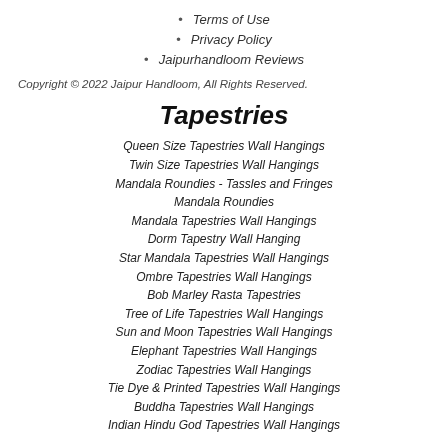Terms of Use
Privacy Policy
Jaipurhandloom Reviews
Copyright © 2022 Jaipur Handloom, All Rights Reserved.
Tapestries
Queen Size Tapestries Wall Hangings
Twin Size Tapestries Wall Hangings
Mandala Roundies - Tassles and Fringes
Mandala Roundies
Mandala Tapestries Wall Hangings
Dorm Tapestry Wall Hanging
Star Mandala Tapestries Wall Hangings
Ombre Tapestries Wall Hangings
Bob Marley Rasta Tapestries
Tree of Life Tapestries Wall Hangings
Sun and Moon Tapestries Wall Hangings
Elephant Tapestries Wall Hangings
Zodiac Tapestries Wall Hangings
Tie Dye & Printed Tapestries Wall Hangings
Buddha Tapestries Wall Hangings
Indian Hindu God Tapestries Wall Hangings
Kantha Throws
Queen Kantha Quilts
Twin Kantha Quilts
Vintage Kantha Quilts